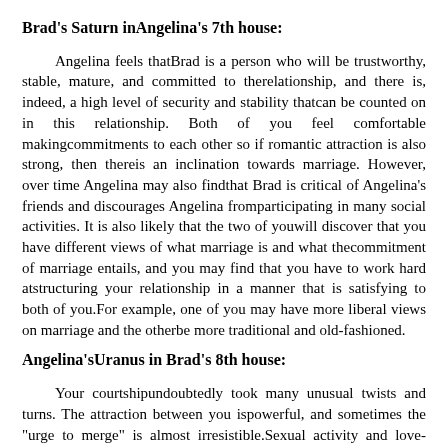Brad's Saturn inAngelina's 7th house:
Angelina feels thatBrad is a person who will be trustworthy, stable, mature, and committed to therelationship, and there is, indeed, a high level of security and stability thatcan be counted on in this relationship. Both of you feel comfortable makingcommitments to each other so if romantic attraction is also strong, then thereis an inclination towards marriage. However, over time Angelina may also findthat Brad is critical of Angelina's friends and discourages Angelina fromparticipating in many social activities. It is also likely that the two of youwill discover that you have different views of what marriage is and what thecommitment of marriage entails, and you may find that you have to work hard atstructuring your relationship in a manner that is satisfying to both of you.For example, one of you may have more liberal views on marriage and the otherbe more traditional and old-fashioned.
Angelina'sUranus in Brad's 8th house:
Your courtshipundoubtedly took many unusual twists and turns. The attraction between you ispowerful, and sometimes the "urge to merge" is almost irresistible.Sexual activity and love-making probably began very early in the relationship.Also, the way you jointly handle finances and investments is likely to takesome